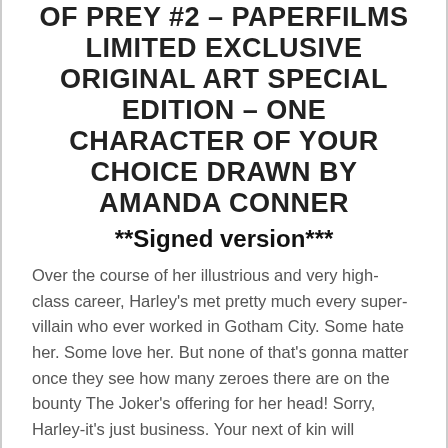OF PREY #2 – PAPERFILMS LIMITED EXCLUSIVE ORIGINAL ART SPECIAL EDITION – ONE CHARACTER OF YOUR CHOICE DRAWN BY AMANDA CONNER
**Signed version***
Over the course of her illustrious and very high-class career, Harley's met pretty much every super-villain who ever worked in Gotham City. Some hate her. Some love her. But none of that's gonna matter once they see how many zeroes there are on the bounty The Joker's offering for her head! Sorry, Harley-it's just business. Your next of kin will understand, right? Meanwhile, Cassandra Cain finds herself in the unenviable position of being Harley Quinn's